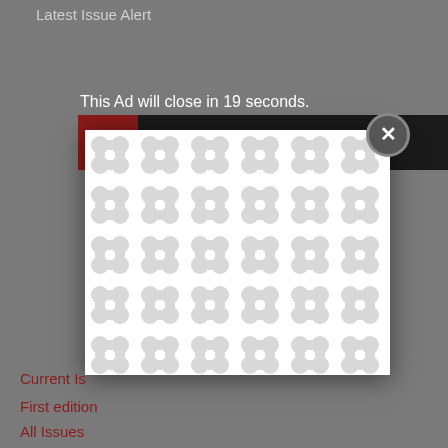Latest Issue Alert
This Ad will close in 19 seconds.
[Figure (screenshot): Weekly Podcast Series banner with dark background and red rectangle on left, showing text 'WEEKLY PODCAST SERIES']
[Figure (illustration): Ad modal overlay with white background and repeating grey blob/bubble pattern, with a grey circle close button (X) in top right corner]
Current Is
First edition
All Issues